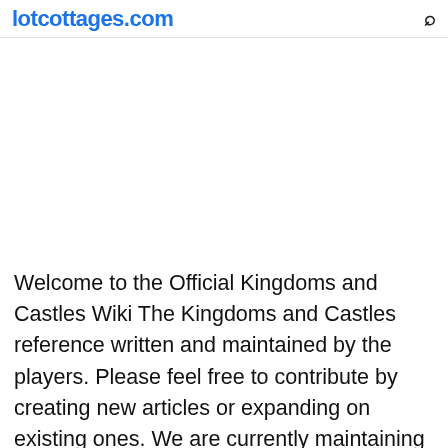lotcottages.com
Welcome to the Official Kingdoms and Castles Wiki The Kingdoms and Castles reference written and maintained by the players. Please feel free to contribute by creating new articles or expanding on existing ones. We are currently maintaining 732 pages (149 articles). Kingdoms and Castles is a game developed by the team of Peter Angstadt and Michael Peddicord of Lionshield Studios. This game